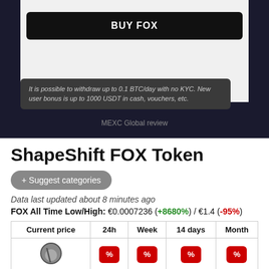[Figure (screenshot): BUY FOX button on dark background card]
It is possible to withdraw up to 0.1 BTC/day with no KYC. New user bonus is up to 1000 USDT in cash, vouchers, etc.
MEXC Global review
ShapeShift FOX Token
+ Suggest categories
Data last updated about 8 minutes ago
FOX All Time Low/High: €0.0007236 (+8680%) / €1.4 (-95%)
| Current price | 24h | Week | 14 days | Month |
| --- | --- | --- | --- | --- |
| (icon) | % | % | % | % |